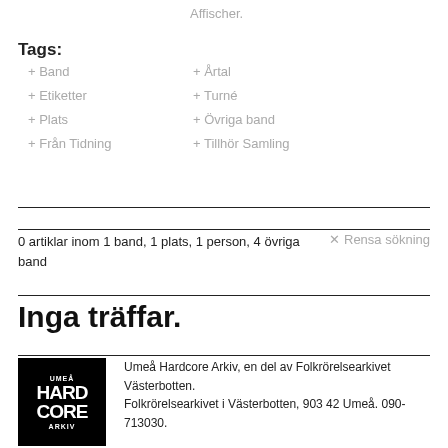Affischer.
Tags:  + Band  + Etiketter  + Plats  + Från Tidning  + Årtal  + Turné  + Övriga band  + Tillhör Samling
0 artiklar inom 1 band, 1 plats, 1 person, 4 övriga band
✕ Rensa sökning
Inga träffar.
Umeå Hardcore Arkiv, en del av Folkrörelsearkivet Västerbotten.
Folkrörelsearkivet i Västerbotten, 903 42 Umeå. 090-713030.